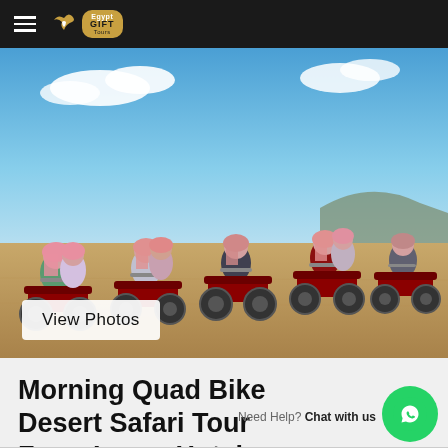Egypt Gift Tours
[Figure (photo): Group of tourists wearing pink headscarves sitting on red quad bikes in a desert landscape with blue sky and clouds]
View Photos
Morning Quad Bike Desert Safari Tour From Luxor Hotel or Nile Cruise
Need Help? Chat with us